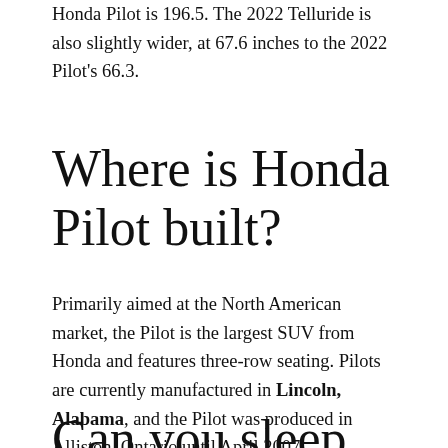Honda Pilot is 196.5. The 2022 Telluride is also slightly wider, at 67.6 inches to the 2022 Pilot's 66.3.
Where is Honda Pilot built?
Primarily aimed at the North American market, the Pilot is the largest SUV from Honda and features three-row seating. Pilots are currently manufactured in Lincoln, Alabama, and the Pilot was produced in Alliston, Ontario until April 2007.
Can you sleep in the